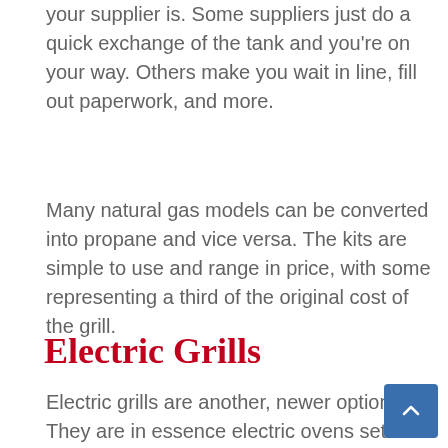your supplier is. Some suppliers just do a quick exchange of the tank and you're on your way. Others make you wait in line, fill out paperwork, and more.
Many natural gas models can be converted into propane and vice versa. The kits are simple to use and range in price, with some representing a third of the original cost of the grill.
Electric Grills
Electric grills are another, newer option. They are in essence electric ovens set on wheels and can have a number of advantages. They have no requirement, just a cord, and an electric outlet.